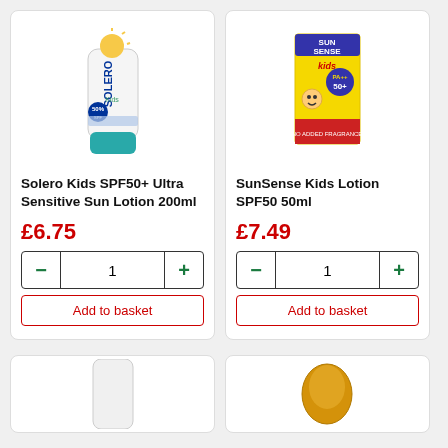[Figure (photo): Solero Kids SPF50+ Ultra Sensitive Sun Lotion 200ml bottle - white bottle with teal cap]
Solero Kids SPF50+ Ultra Sensitive Sun Lotion 200ml
£6.75
1
Add to basket
[Figure (photo): SunSense Kids Lotion SPF50 50ml - yellow packaging with kids branding]
SunSense Kids Lotion SPF50 50ml
£7.49
1
Add to basket
[Figure (photo): Partial product image bottom left - white bottle partially visible]
[Figure (photo): Partial product image bottom right - gold/yellow product partially visible]